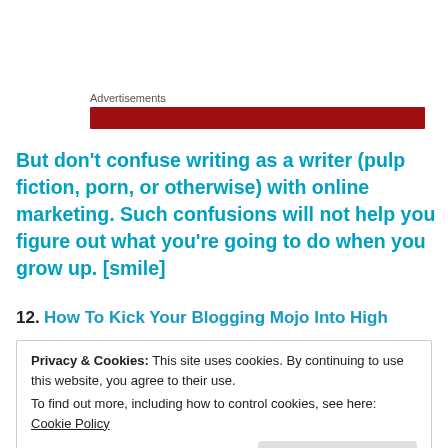Advertisements
[Figure (other): Red advertisement banner bar]
But don’t confuse writing as a writer (pulp fiction, porn, or otherwise) with online marketing. Such confusions will not help you figure out what you’re going to do when you grow up. [smile]
12. How To Kick Your Blogging Mojo Into High
Privacy & Cookies: This site uses cookies. By continuing to use this website, you agree to their use.
To find out more, including how to control cookies, see here: Cookie Policy
Close and accept